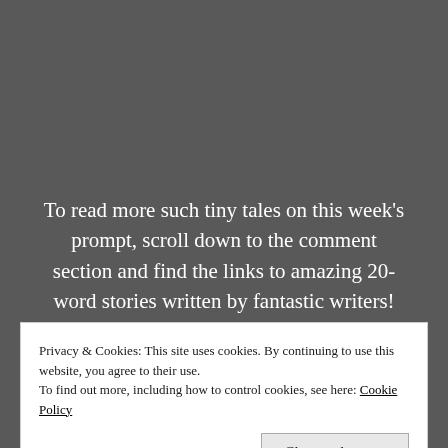To read more such tiny tales on this week's prompt, scroll down to the comment section and find the links to amazing 20-word stories written by fantastic writers!
Privacy & Cookies: This site uses cookies. By continuing to use this website, you agree to their use.
To find out more, including how to control cookies, see here: Cookie Policy
Close and accept